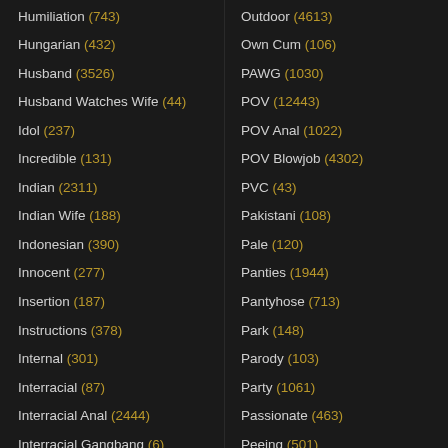Humiliation (743)
Hungarian (432)
Husband (3526)
Husband Watches Wife (44)
Idol (237)
Incredible (131)
Indian (2311)
Indian Wife (188)
Indonesian (390)
Innocent (277)
Insertion (187)
Instructions (378)
Internal (301)
Interracial (87)
Interracial Anal (2444)
Interracial Gangbang (6)
Outdoor (4613)
Own Cum (106)
PAWG (1030)
POV (12443)
POV Anal (1022)
POV Blowjob (4302)
PVC (43)
Pakistani (108)
Pale (120)
Panties (1944)
Pantyhose (713)
Park (148)
Parody (103)
Party (1061)
Passionate (463)
Peeing (501)